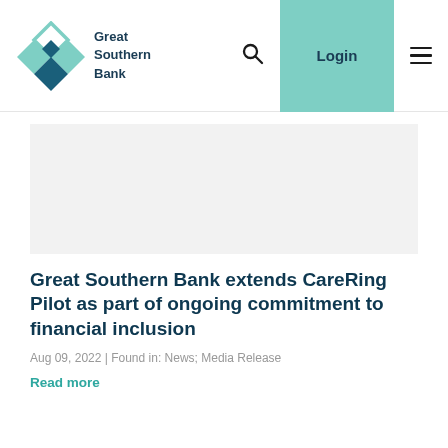Great Southern Bank | Login
[Figure (illustration): Great Southern Bank logo with teal diamond shapes and bank name text]
[Figure (photo): Gray image placeholder area]
Great Southern Bank extends CareRing Pilot as part of ongoing commitment to financial inclusion
Aug 09, 2022 | Found in: News; Media Release
Read more